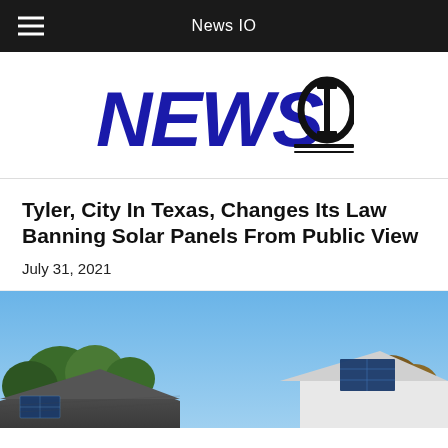News IO
[Figure (logo): News IO logo with NEWS in large bold blue letters and IO in large bold black letters with decorative underline]
Tyler, City In Texas, Changes Its Law Banning Solar Panels From Public View
July 31, 2021
[Figure (photo): Rooftop solar panels visible on a house with trees and blue sky in background]